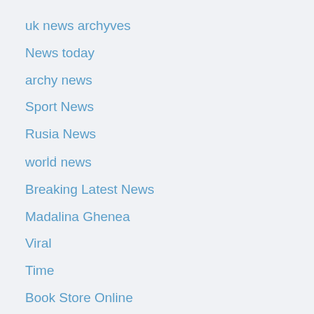uk news archyves
News today
archy news
Sport News
Rusia News
world news
Breaking Latest News
Madalina Ghenea
Viral
Time
Book Store Online
Japan news
America mall